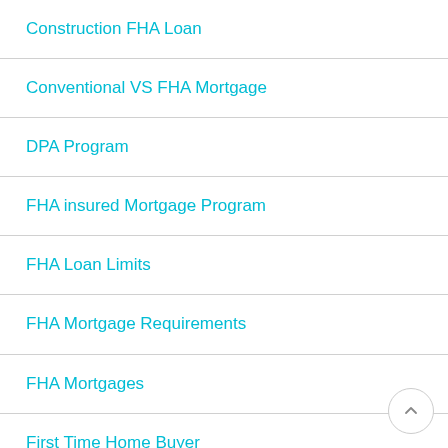Construction FHA Loan
Conventional VS FHA Mortgage
DPA Program
FHA insured Mortgage Program
FHA Loan Limits
FHA Mortgage Requirements
FHA Mortgages
First Time Home Buyer
Fixed Mortgage Rates